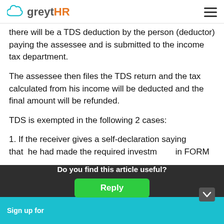greytHR
there will be a TDS deduction by the person (deductor) paying the assessee and is submitted to the income tax department.
The assessee then files the TDS return and the tax calculated from his income will be deducted and the final amount will be refunded.
TDS is exempted in the following 2 cases:
1. If the receiver gives a self-declaration saying that he had made the required investments in FORM
Sign up for
[Figure (screenshot): Dark popup overlay with text 'Do you find this article useful?' and a green 'Reply' button]